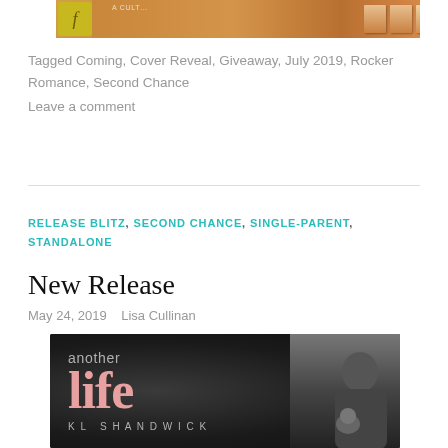[Figure (photo): Top portion of a book cover image with a gold/orange background and a small badge with letter F]
Tagged Coming, Cover Reveal, Giveaway, July 2019, Rocker Romance, Second Chance
Leave a comment
RELEASE BLITZ, SECOND CHANCE, SINGLE-PARENT, STANDALONE
New Release
May 24, 2019   Lisa Cullinan
[Figure (photo): Book cover for 'another life' by KL Shandwick showing the title text with a man holding a baby]